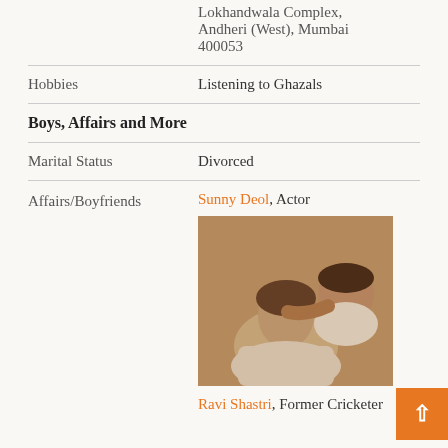|  | Lokhandwala Complex, Andheri (West), Mumbai 400053 |
| Hobbies | Listening to Ghazals |
Boys, Affairs and More
| Marital Status | Divorced |
| Affairs/Boyfriends | Sunny Deol, Actor |
[Figure (photo): A sepia-toned photograph of a woman and man lying together, looking at the camera.]
Ravi Shastri, Former Cricketer